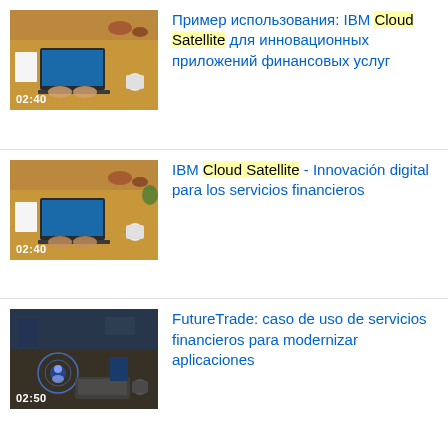[Figure (screenshot): Video thumbnail showing overhead view of laptop on desk, duration 02:40]
Пример использования: IBM Cloud Satellite для инновационных приложений финансовых услуг
[Figure (screenshot): Video thumbnail showing overhead view of laptop on desk, duration 02:40]
IBM Cloud Satellite - Innovación digital para los servicios financieros
[Figure (screenshot): Video thumbnail showing overhead view of desk with digital graphic overlay, duration 02:50]
FutureTrade: caso de uso de servicios financieros para modernizar aplicaciones